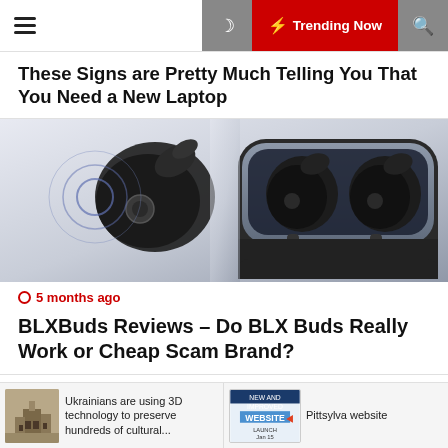☰ | 🌙 | ⚡ Trending Now | 🔍
These Signs are Pretty Much Telling You That You Need a New Laptop
[Figure (photo): Wireless earbuds (BLX Buds) shown outside their charging case with Bluetooth signal waves on left, and inside open charging case on right, against a light blue/grey background.]
⊙ 5 months ago
BLXBuds Reviews – Do BLX Buds Really Work or Cheap Scam Brand?
Ukrainians are using 3D technology to preserve hundreds of cultural...
Pittsylva website